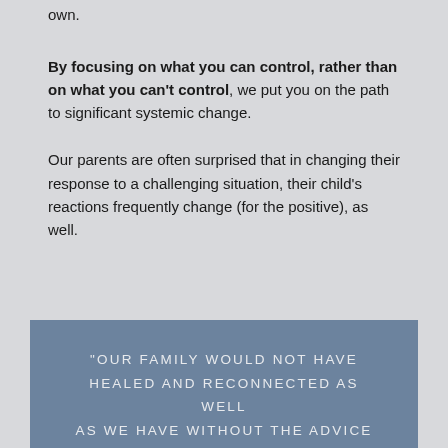own.
By focusing on what you can control, rather than on what you can't control, we put you on the path to significant systemic change.
Our parents are often surprised that in changing their response to a challenging situation, their child's reactions frequently change (for the positive), as well.
"OUR FAMILY WOULD NOT HAVE HEALED AND RECONNECTED AS WELL AS WE HAVE WITHOUT THE ADVICE